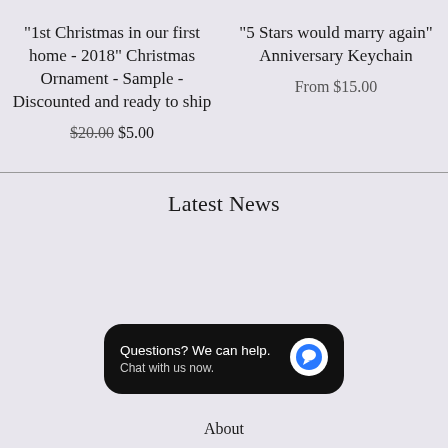"1st Christmas in our first home - 2018" Christmas Ornament - Sample - Discounted and ready to ship
$20.00 $5.00
"5 Stars would marry again" Anniversary Keychain
From $15.00
Latest News
Questions? We can help. Chat with us now.
About